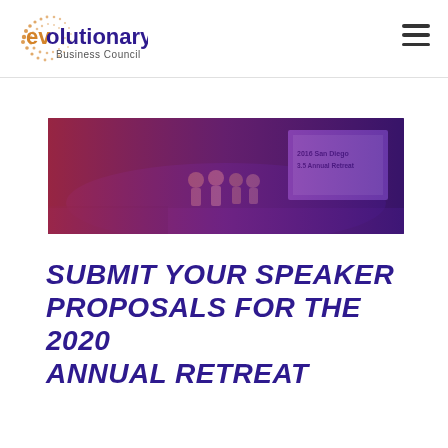evolutionary Business Council
[Figure (photo): A conference room scene with people on stage and a projection screen showing '2016 San Diego 3.5 Annual Retreat', with a red-to-purple gradient color overlay on the photo]
SUBMIT YOUR SPEAKER PROPOSALS FOR THE 2020 ANNUAL RETREAT